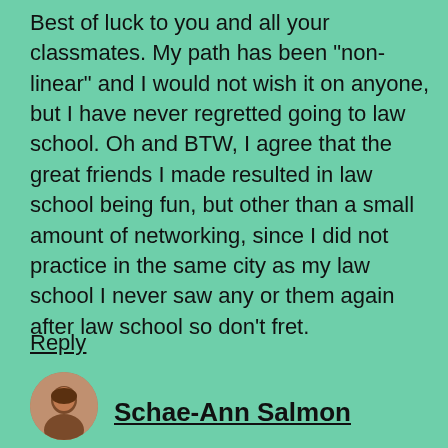Best of luck to you and all your classmates. My path has been "non-linear" and I would not wish it on anyone, but I have never regretted going to law school. Oh and BTW, I agree that the great friends I made resulted in law school being fun, but other than a small amount of networking, since I did not practice in the same city as my law school I never saw any or them again after law school so don't fret.
Reply
Schae-Ann Salmon